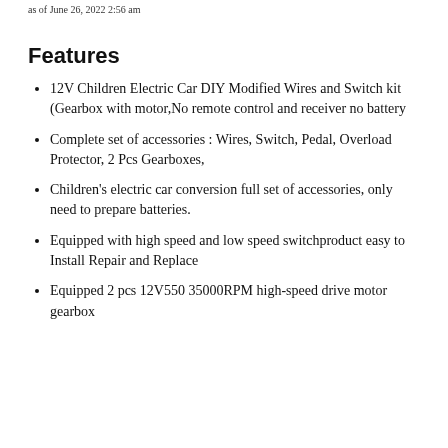as of June 26, 2022 2:56 am
Features
12V Children Electric Car DIY Modified Wires and Switch kit (Gearbox with motor,No remote control and receiver no battery
Complete set of accessories : Wires, Switch, Pedal, Overload Protector, 2 Pcs Gearboxes,
Children's electric car conversion full set of accessories, only need to prepare batteries.
Equipped with high speed and low speed switchproduct easy to Install Repair and Replace
Equipped 2 pcs 12V550 35000RPM high-speed drive motor gearbox